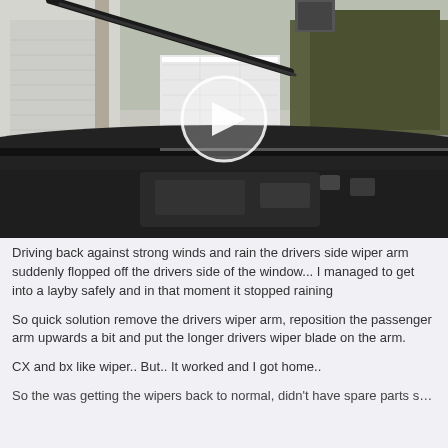[Figure (screenshot): Video screenshot from inside a car showing the dashboard and windshield with a wiper arm visible outside, and a white play button overlay indicating this is a video thumbnail. Outside shows a grey building, a gate, and trees.]
Driving back against strong winds and rain the drivers side wiper arm suddenly flopped off the drivers side of the window... I managed to get into a layby safely and in that moment it stopped raining
So quick solution remove the drivers wiper arm, reposition the passenger arm upwards a bit and put the longer drivers wiper blade on the arm.
CX and bx like wiper.. But.. It worked and I got home..
So the was getting the wipers back to normal, didn't have spare parts so after I...